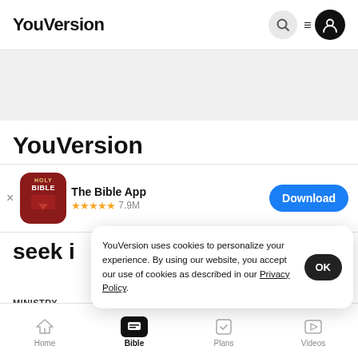YouVersion
YouVersion
[Figure (screenshot): The Bible App icon: red rounded square with 'HOLY BIBLE' text and book graphic]
The Bible App ★★★★★ 7.9M
seek i
YouVersion uses cookies to personalize your experience. By using our website, you accept our use of cookies as described in our Privacy Policy.
MINISTRY
USEFUL LINKS
Home  Bible  Plans  Videos